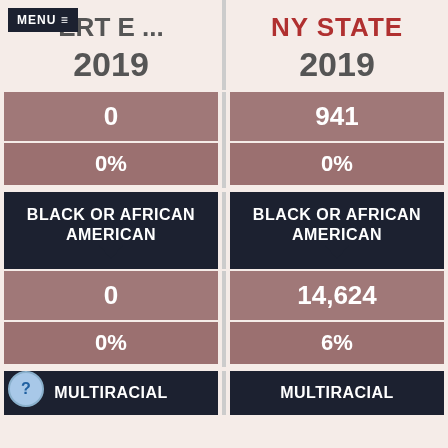MENU ≡  ROBERT E ... | NY STATE
2019
2019
|  | ROBERT E ... | NY STATE |
| --- | --- | --- |
| (count) | 0 | 941 |
| (percent) | 0% | 0% |
| BLACK OR AFRICAN AMERICAN (count) | 0 | 14,624 |
| BLACK OR AFRICAN AMERICAN (percent) | 0% | 6% |
BLACK OR AFRICAN AMERICAN
BLACK OR AFRICAN AMERICAN
MULTIRACIAL
MULTIRACIAL